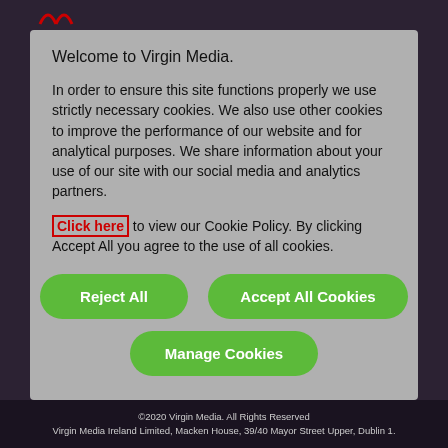Welcome to Virgin Media.
In order to ensure this site functions properly we use strictly necessary cookies. We also use other cookies to improve the performance of our website and for analytical purposes. We share information about your use of our site with our social media and analytics partners.
Click here to view our Cookie Policy. By clicking Accept All you agree to the use of all cookies.
Reject All
Accept All Cookies
Manage Cookies
©2020 Virgin Media. All Rights Reserved
Virgin Media Ireland Limited, Macken House, 39/40 Mayor Street Upper, Dublin 1.